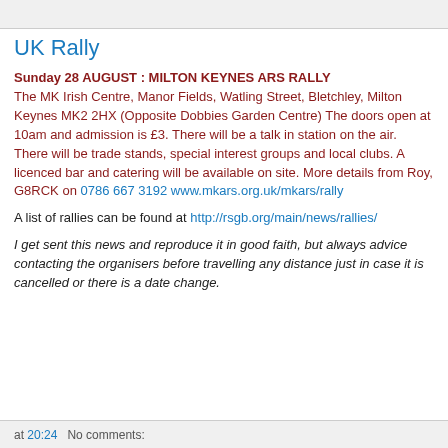UK Rally
Sunday 28 AUGUST : MILTON KEYNES ARS RALLY
The MK Irish Centre, Manor Fields, Watling Street, Bletchley, Milton Keynes MK2 2HX (Opposite Dobbies Garden Centre) The doors open at 10am and admission is £3. There will be a talk in station on the air. There will be trade stands, special interest groups and local clubs. A licenced bar and catering will be available on site. More details from Roy, G8RCK on 0786 667 3192 www.mkars.org.uk/mkars/rally
A list of rallies can be found at http://rsgb.org/main/news/rallies/
I get sent this news and reproduce it in good faith, but always advice contacting the organisers before travelling any distance just in case it is cancelled or there is a date change.
at 20:24   No comments: